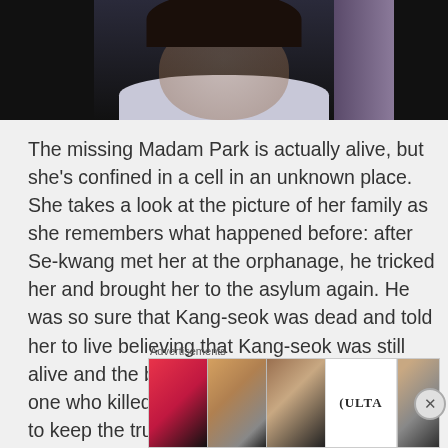[Figure (photo): Partial photo of a woman with dark hair wearing a white top, shown from shoulders up against a dark background, cropped at the top of the page]
The missing Madam Park is actually alive, but she's confined in a cell in an unknown place. She takes a look at the picture of her family as she remembers what happened before: after Se-kwang met her at the orphanage, he tricked her and brought her to the asylum again. He was so sure that Kang-seok was dead and told her to live believing that Kang-seok was still alive and the boy would show up to kill him, the one who killed his father. Madam Park decides to keep the truth
Advertisements
[Figure (photo): ULTA Beauty advertisement banner showing close-ups of lips with red lipstick, makeup brush, eye with dramatic makeup, ULTA logo, eye with dark makeup, and SHOP NOW text]